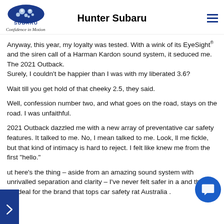Hunter Subaru
Anyway, this year, my loyalty was tested. With a wink of its EyeSight® and the siren call of a Harman Kardon sound system, it seduced me. The 2021 Outback.
Surely, I couldn't be happier than I was with my liberated 3.6?
Wait till you get hold of that cheeky 2.5, they said.
Well, confession number two, and what goes on the road, stays on the road. I was unfaithful.
2021 Outback dazzled me with a new array of preventative car safety features. It talked to me. No, I mean talked to me. Look, ll me fickle, but that kind of intimacy is hard to reject. I felt like knew me from the first "hello."
ut here's the thing – aside from an amazing sound system with unrivalled separation and clarity – I've never felt safer in a and that's a big deal for the brand that tops car safety rat Australia .